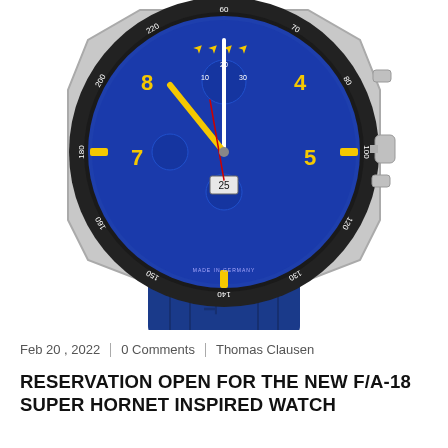[Figure (photo): Close-up photo of a chronograph watch with a blue dial featuring yellow numerals (4, 5, 7, 8), yellow hour markers, four yellow fighter jet aircraft silhouettes at 12 o'clock, a date window showing 25, a red accent hand, and a tachymeter bezel. The watch has a stainless steel case and a blue rubber strap with 'PILOT' embossed on it.]
Feb 20 , 2022  0 Comments  Thomas Clausen
RESERVATION OPEN FOR THE NEW F/A-18 SUPER HORNET INSPIRED WATCH